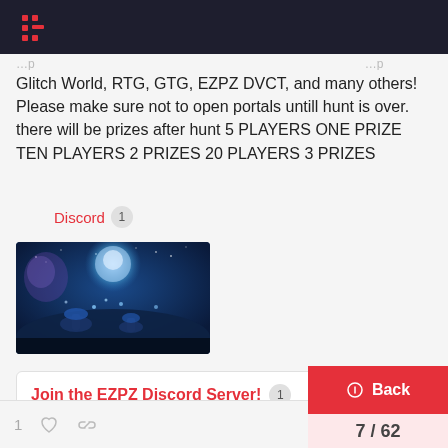EZPZ Forum — header with logo
Glitch World, RTG, GTG, EZPZ DVCT, and many others! Please make sure not to open portals untill hunt is over. there will be prizes after hunt 5 PLAYERS ONE PRIZE TEN PLAYERS 2 PRIZES 20 PLAYERS 3 PRIZES
Discord 1
[Figure (screenshot): A dark blue game screenshot showing an underwater or night sky scene with glowing orbs and mushroom-like structures]
Join the EZPZ Discord Server! 1
Check out the EZPZ community on Discord - hang out with 294 other members and enjoy free voice and text chat.
1 ♡ 🔗 Back 7 / 62